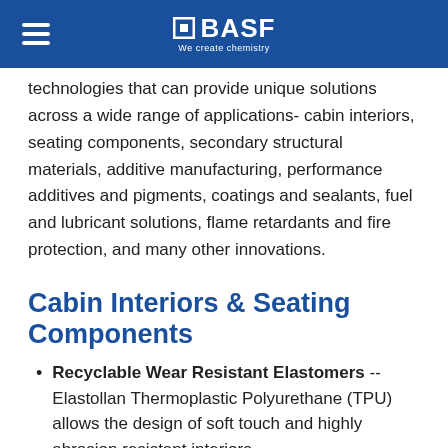BASF – We create chemistry
technologies that can provide unique solutions across a wide range of applications- cabin interiors, seating components, secondary structural materials, additive manufacturing, performance additives and pigments, coatings and sealants, fuel and lubricant solutions, flame retardants and fire protection, and many other innovations.
Cabin Interiors & Seating Components
Recyclable Wear Resistant Elastomers -- Elastollan Thermoplastic Polyurethane (TPU) allows the design of soft touch and highly abrasion resistant interiors